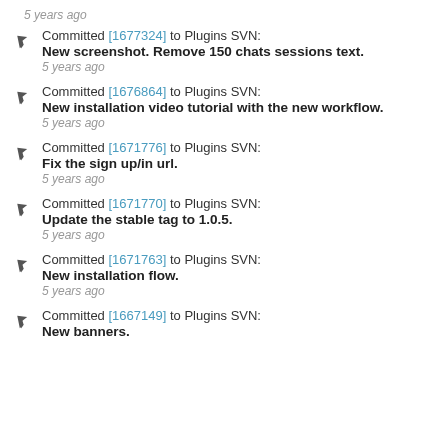5 years ago
Committed [1677324] to Plugins SVN:
New screenshot. Remove 150 chats sessions text.
5 years ago
Committed [1676864] to Plugins SVN:
New installation video tutorial with the new workflow.
5 years ago
Committed [1671776] to Plugins SVN:
Fix the sign up/in url.
5 years ago
Committed [1671770] to Plugins SVN:
Update the stable tag to 1.0.5.
5 years ago
Committed [1671763] to Plugins SVN:
New installation flow.
5 years ago
Committed [1667149] to Plugins SVN:
New banners.